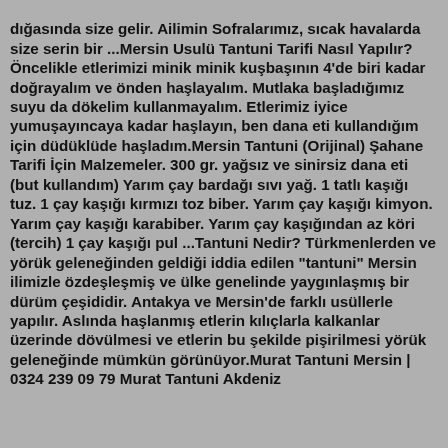dığasında size gelir. Ailimin Sofralarımız, sıcak havalarda size serin bir ...Mersin Usulü Tantuni Tarifi Nasıl Yapılır? Öncelikle etlerimizi minik minik kuşbaşının 4'de biri kadar doğrayalım ve önden haşlayalım. Mutlaka başladığımız suyu da dökelim kullanmayalım. Etlerimiz iyice yumuşayıncaya kadar haşlayın, ben dana eti kullandığım için düdüklüde haşladım.Mersin Tantuni (Orijinal) Şahane Tarifi İçin Malzemeler. 300 gr. yağsız ve sinirsiz dana eti (but kullandım) Yarım çay bardağı sıvı yağ. 1 tatlı kaşığı tuz. 1 çay kaşığı kırmızı toz biber. Yarım çay kaşığı kimyon. Yarım çay kaşığı karabiber. Yarım çay kaşığından az köri (tercih) 1 çay kaşığı pul ...Tantuni Nedir? Türkmenlerden ve yörük geleneğinden geldiği iddia edilen "tantuni" Mersin ilimizle özdeşleşmiş ve ülke genelinde yaygınlaşmış bir dürüm çeşididir. Antakya ve Mersin'de farklı usüllerle yapılır. Aslında haşlanmış etlerin kılıçlarla kalkanlar üzerinde dövülmesi ve etlerin bu şekilde pişirilmesi yörük geleneğinde mümkün görünüyor.Murat Tantuni Mersin | 0324 239 09 79 Murat Tantuni Akdeniz